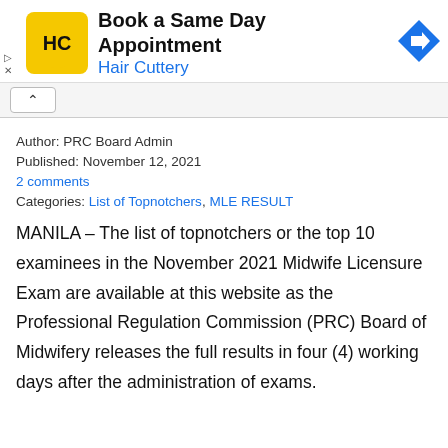[Figure (other): Hair Cuttery advertisement banner with logo, text 'Book a Same Day Appointment / Hair Cuttery', and a blue arrow direction icon]
Author: PRC Board Admin
Published: November 12, 2021
2 comments
Categories: List of Topnotchers, MLE RESULT
MANILA – The list of topnotchers or the top 10 examinees in the November 2021 Midwife Licensure Exam are available at this website as the Professional Regulation Commission (PRC) Board of Midwifery releases the full results in four (4) working days after the administration of exams.